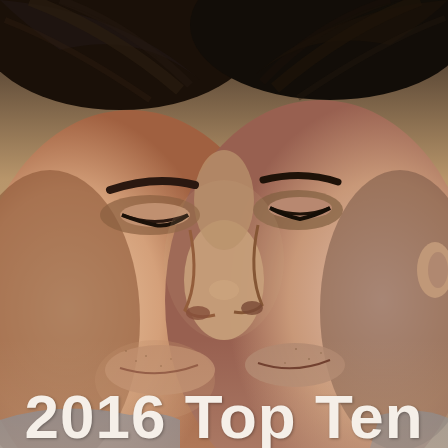[Figure (photo): Close-up photo of two young men facing each other with foreheads nearly touching, eyes closed or nearly closed, in an intimate pose against a soft beige/grey background.]
2016 Top Ten